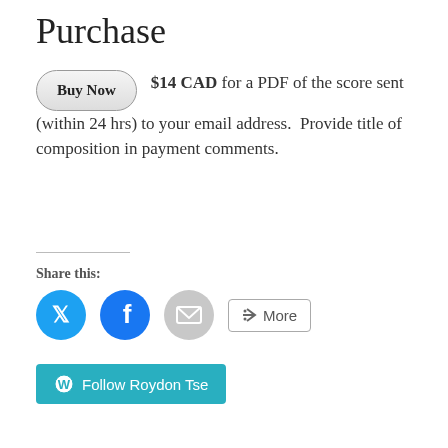Purchase
$14 CAD for a PDF of the score sent (within 24 hrs) to your email address.  Provide title of composition in payment comments.
Share this:
[Figure (other): Social share buttons: Twitter (blue circle), Facebook (blue circle), Email (grey circle), and a More button with share icon]
[Figure (other): Follow Roydon Tse button with WordPress icon on teal background]